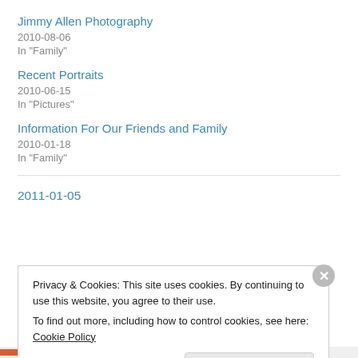Jimmy Allen Photography
2010-08-06
In "Family"
Recent Portraits
2010-06-15
In "Pictures"
Information For Our Friends and Family
2010-01-18
In "Family"
2011-01-05
Privacy & Cookies: This site uses cookies. By continuing to use this website, you agree to their use.
To find out more, including how to control cookies, see here: Cookie Policy
Close and accept